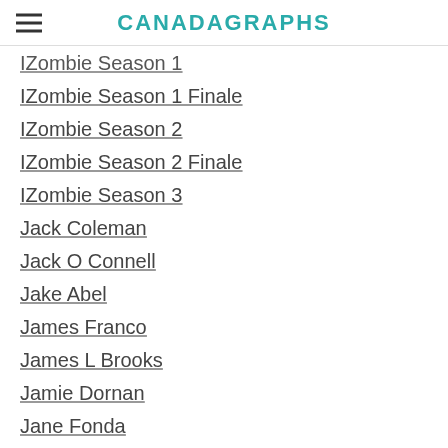CANADAGRAPHS
IZombie Season 1
IZombie Season 1 Finale
IZombie Season 2
IZombie Season 2 Finale
IZombie Season 3
Jack Coleman
Jack O Connell
Jake Abel
James Franco
James L Brooks
Jamie Dornan
Jane Fonda
Janey Gretzky
Jason Momoa
Jason Schwartzman